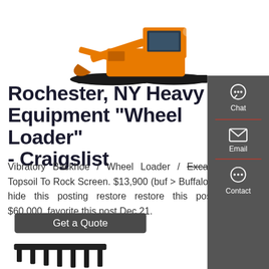[Figure (photo): Orange excavator/tracked heavy equipment machine photographed from the side, upper portion visible against white background]
Rochester, NY Heavy Equipment "Wheel Loader" - Craigslist
Vibratory Backhoe / Wheel Loader / Excavator Topsoil To Rock Screen. $13,900 (buf > Buffalo ) pic hide this posting restore restore this posting. $60,000. favorite this post Dec 21.
[Figure (infographic): Side panel with Chat, Email, and Contact buttons on dark grey background with red divider]
[Figure (photo): Black heavy equipment rake/bucket attachment, lower portion visible]
Get a Quote